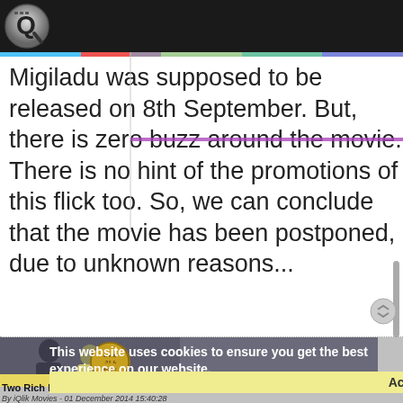[Figure (logo): iQlik logo, silver and black Q icon on dark top bar]
Migiladu was supposed to be released on 8th September. But, there is zero buzz around the movie. There is no hint of the promotions of this flick too. So, we can conclude that the movie has been postponed, due to unknown reasons...
[Figure (screenshot): Cookie consent banner overlay with Accept button, and article thumbnail showing two men with a badge overlay]
Two Rich Heroes of Tollywood
By iQlik Movies - 01 December 2014 15:40:28
You might be under the